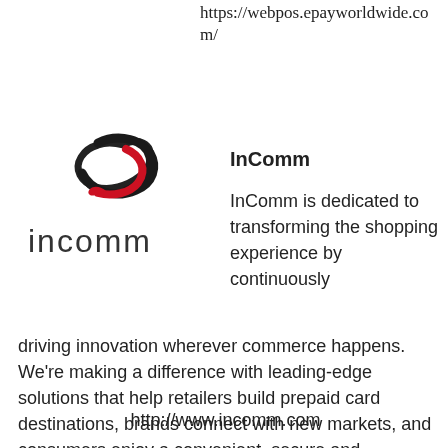https://webpos.epayworldwide.com/
[Figure (logo): InComm company logo with stylized swoosh icon above the word 'incomm' in lowercase]
InComm
InComm is dedicated to transforming the shopping experience by continuously driving innovation wherever commerce happens. We're making a difference with leading-edge solutions that help retailers build prepaid card destinations, brands connect with new markets, and consumers enjoy a convenient, secure and rewarding payment experience.
http://www.incomm.com